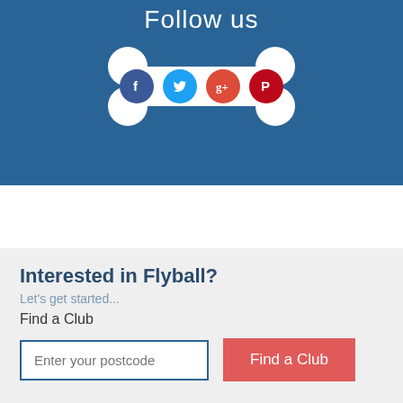Follow us
[Figure (illustration): Dog bone shape with four social media icons inside: Facebook, Twitter, Google+, Pinterest]
Interested in Flyball?
Let's get started...
Find a Club
Enter your postcode
Find a Club
About us